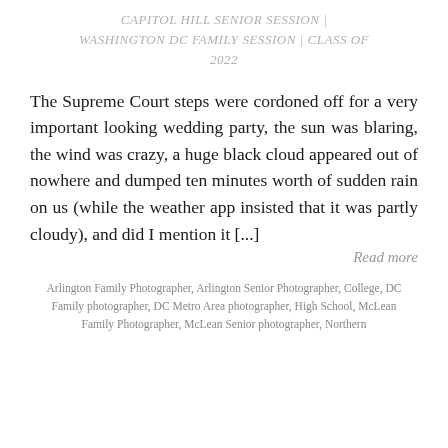CAPITOL HILL SENIOR SESSION | WASHINGTON DC FAMILY SESSION | CLASS OF 2022
The Supreme Court steps were cordoned off for a very important looking wedding party, the sun was blaring, the wind was crazy, a huge black cloud appeared out of nowhere and dumped ten minutes worth of sudden rain on us (while the weather app insisted that it was partly cloudy), and did I mention it [...]
Read more
Arlington Family Photographer, Arlington Senior Photographer, College, DC Family photographer, DC Metro Area photographer, High School, McLean Family Photographer, McLean Senior photographer, Northern